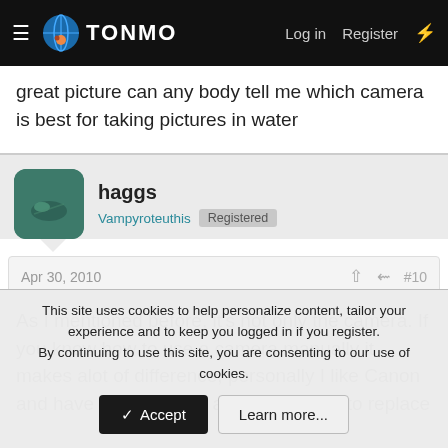TONMO — Log in  Register
great picture can any body tell me which camera is best for taking pictures in water
haggs
Vampyroteuthis  Registered
Apr 30, 2010  #10
As I mentioned before, it's not only the camera. If you know how to use a camera manually it makes alot of difference, personally I like Canon and have been looking at the new G11 to replace
This site uses cookies to help personalize content, tailor your experience and to keep you logged in if you register.
By continuing to use this site, you are consenting to our use of cookies.
Accept  Learn more...